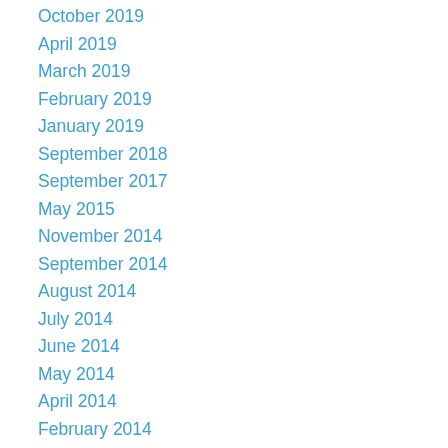October 2019
April 2019
March 2019
February 2019
January 2019
September 2018
September 2017
May 2015
November 2014
September 2014
August 2014
July 2014
June 2014
May 2014
April 2014
February 2014
January 2014
December 2013
September 2013
August 2013